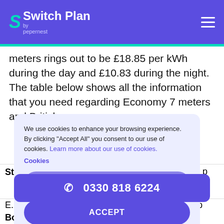Switch Plan by pepernest
meters rings out to be £18.85 per kWh during the day and £10.83 during the night. The table below shows all the information that you need regarding Economy 7 meters and British gas:
We use cookies to enhance your browsing experience. By clicking "Accept All" you consent to our use of cookies. Learn more about our use of cookies. Cookies [DECLINE] [ACCEPT]
| Standard | Variable | 16.755 p | 22.402 p |
| E... |  |  | ...p |
| Boiler Cover | fixed |  |  |